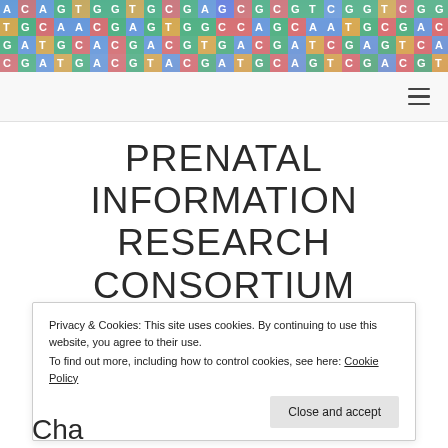[Figure (photo): DNA sequence colorful letter grid banner at the top of the page]
PRENATAL INFORMATION RESEARCH CONSORTIUM
Privacy & Cookies: This site uses cookies. By continuing to use this website, you agree to their use.
To find out more, including how to control cookies, see here: Cookie Policy
Close and accept